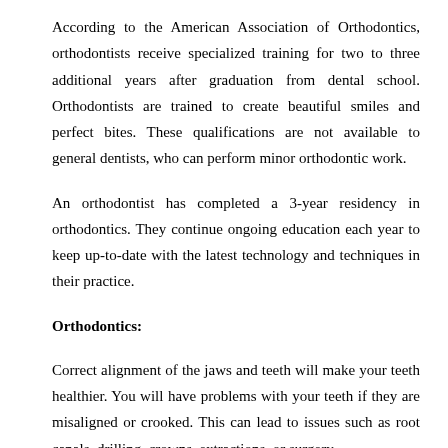According to the American Association of Orthodontics, orthodontists receive specialized training for two to three additional years after graduation from dental school. Orthodontists are trained to create beautiful smiles and perfect bites. These qualifications are not available to general dentists, who can perform minor orthodontic work.
An orthodontist has completed a 3-year residency in orthodontics. They continue ongoing education each year to keep up-to-date with the latest technology and techniques in their practice.
Orthodontics:
Correct alignment of the jaws and teeth will make your teeth healthier. You will have problems with your teeth if they are misaligned or crooked. This can lead to issues such as root canals, drilling, crowns, extractions, or surgery.
Orthodontics can be considered a preventive form of dentistry. It can help